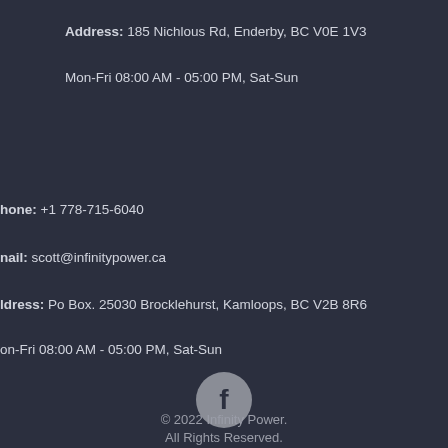Address:   185 Nichlous Rd, Enderby, BC V0E 1V3
Mon-Fri 08:00 AM - 05:00 PM, Sat-Sun
hone:      +1 778-715-6040
nail:       scott@infinitypower.ca
ldress:   Po Box. 25030 Brocklehurst, Kamloops, BC V2B 8R6
on-Fri 08:00 AM - 05:00 PM, Sat-Sun
[Figure (logo): Facebook icon - circular grey button with white 'f' letter]
© 2022 Infinity Power. All Rights Reserved.